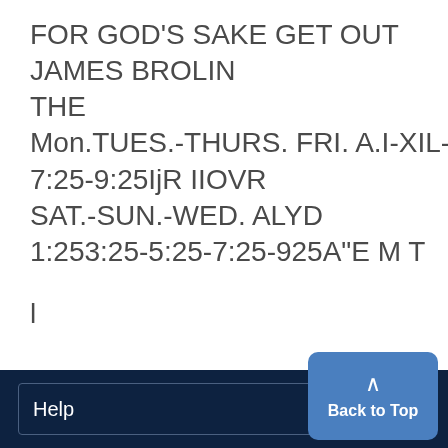FOR GOD'S SAKE GET OUT
JAMES BROLIN
THE
Mon.TUES.-THURS. FRI. A.I-XIL-LE
7:25-9:25IjR IIOVR
SAT.-SUN.-WED. ALYD
1:253:25-5:25-7:25-925A"E M T
l
Help   Back to Top